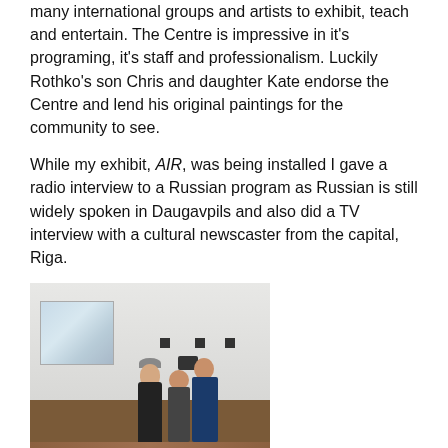many international groups and artists to exhibit, teach and entertain. The Centre is impressive in it's programing, it's staff and professionalism. Luckily Rothko's son Chris and daughter Kate endorse the Centre and lend his original paintings for the community to see.
While my exhibit, AIR, was being installed I gave a radio interview to a Russian program as Russian is still widely spoken in Daugavpils and also did a TV interview with a cultural newscaster from the capital, Riga.
[Figure (photo): A gallery interior scene showing a woman in black speaking and gesturing toward a hanging fabric artwork on a white wall, while a camera operator and another person film her. The floor is wooden/parquet.]
I was happy to do this as I wanted to explain the intention of my exhibit; that the earth's air belongs to everyone on the planet without exception. We all inhale and exhale the same air. There are no boundaries or fences that keep air separate from one another and as such we must then all be guardians of the air that we all share.